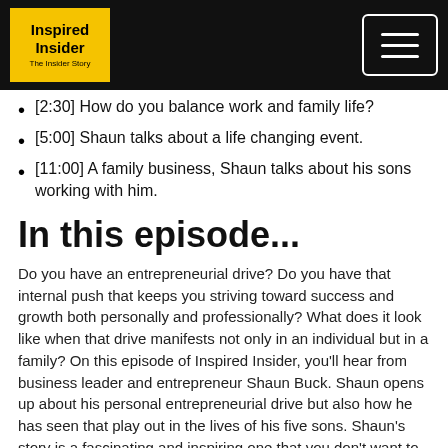Inspired Insider [logo] [menu button]
[2:30] How do you balance work and family life?
[5:00] Shaun talks about a life changing event.
[11:00] A family business, Shaun talks about his sons working with him.
In this episode...
Do you have an entrepreneurial drive? Do you have that internal push that keeps you striving toward success and growth both personally and professionally? What does it look like when that drive manifests not only in an individual but in a family? On this episode of Inspired Insider, you'll hear from business leader and entrepreneur Shaun Buck. Shaun opens up about his personal entrepreneurial drive but also how he has seen that play out in the lives of his five sons. Shaun's story is a fascinating and inspiring one that you don't want to miss!
Do you struggle with balancing work and family life? What have you found that works for you? Are you looking for insight from business leaders to hear how they've coped with the